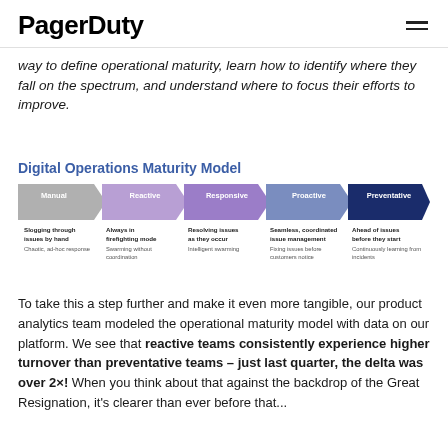PagerDuty
way to define operational maturity, learn how to identify where they fall on the spectrum, and understand where to focus their efforts to improve.
Digital Operations Maturity Model
[Figure (infographic): Five-stage maturity model shown as chevron arrows: Manual (Slogging through issues by hand; Chaotic, ad-hoc response), Reactive (Always in firefighting mode; Swarming without coordination), Responsive (Resolving issues as they occur; Intelligent swarming), Proactive (Seamless, coordinated issue management; Fixing issues before customers notice), Preventative (Ahead of issues before they start; Continuously learning from incidents). Colors progress from gray to light purple to medium purple to slate blue to dark navy.]
To take this a step further and make it even more tangible, our product analytics team modeled the operational maturity model with data on our platform. We see that reactive teams consistently experience higher turnover than preventative teams – just last quarter, the delta was over 2×! When you think about that against the backdrop of the Great Resignation, it's clearer than ever before that...